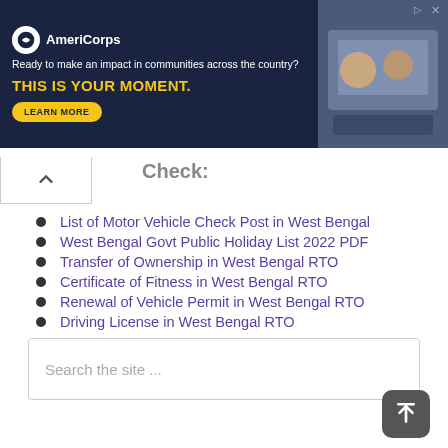[Figure (other): AmeriCorps advertisement banner. Dark navy background. AmeriCorps logo and text: 'Ready to make an impact in communities across the country? THIS IS YOUR MOMENT.' with a yellow LEARN MORE button. Right side shows a photo of people at computers.]
Check:
List of Motor Vehicle Check Post in West Bengal
West Bengal Govt Public Holiday List 2022 PDF
Transfer of Ownership in West Bengal RTO
Certificate of Fitness in West Bengal RTO
Renewal of Vehicle Permit in West Bengal RTO
Driving License in West Bengal RTO
Search the site ...